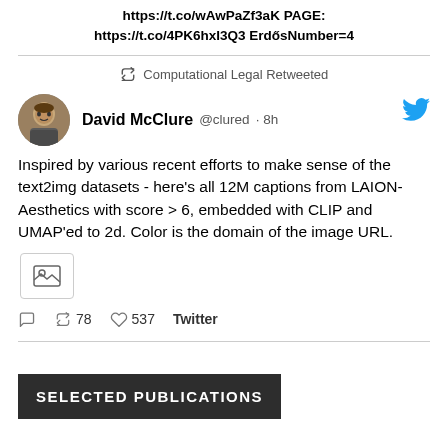https://t.co/wAwPaZf3aK PAGE: https://t.co/4PK6hxI3Q3 ErdősNumber=4
Computational Legal Retweeted
David McClure @clured · 8h
Inspired by various recent efforts to make sense of the text2img datasets - here's all 12M captions from LAION-Aesthetics with score > 6, embedded with CLIP and UMAP'ed to 2d. Color is the domain of the image URL.
[Figure (other): Image placeholder icon]
78 537 Twitter
SELECTED PUBLICATIONS